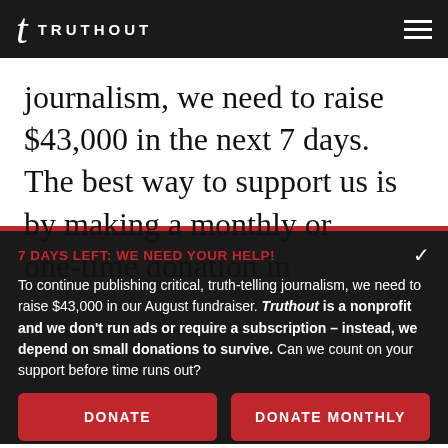t TRUTHOUT
journalism, we need to raise $43,000 in the next 7 days. The best way to support us is by making a monthly or one-time donation in
7 DAYS LEFT: WE NEED YOUR HELP!
To continue publishing critical, truth-telling journalism, we need to raise $43,000 in our August fundraiser. Truthout is a nonprofit and we don't run ads or require a subscription – instead, we depend on small donations to survive. Can we count on your support before time runs out?
DONATE
DONATE MONTHLY